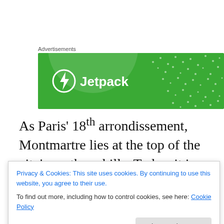Advertisements
[Figure (logo): Jetpack advertisement banner — green background with Jetpack logo (lightning bolt in circle) and text 'Jetpack']
As Paris' 18th arrondissement, Montmartre lies at the top of the city's northern hills. Today, it is a popular tourist destination, haunted by the memories of the city's most famed artists. It was the first stop on my trip to Paris in 2017. Jetlagged but energized, I emerged from the Pigalle
Privacy & Cookies: This site uses cookies. By continuing to use this website, you agree to their use.
To find out more, including how to control cookies, see here: Cookie Policy
to greet the day's customers. It was a fairytale come true,